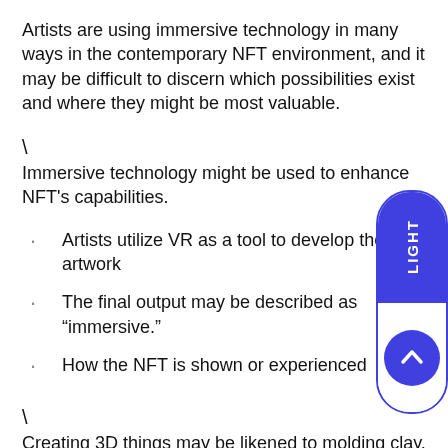Artists are using immersive technology in many ways in the contemporary NFT environment, and it may be difficult to discern which possibilities exist and where they might be most valuable.
\
Immersive technology might be used to enhance NFT's capabilities.
Artists utilize VR as a tool to develop their artwork
The final output may be described as “immersive.”
How the NFT is shown or experienced
\
Creating 3D things may be likened to molding clay, being a piece of cloth in zero gravity, stacking blocks, painting a canvas, and much more. Training does not need months of practice, and skills developed in the real world may be